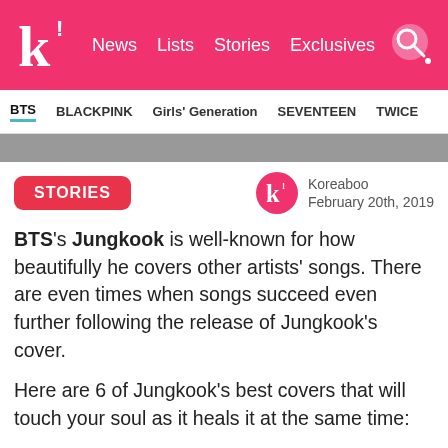k! News  Lists  Stories  Exclusives
BTS  BLACKPINK  Girls' Generation  SEVENTEEN  TWICE
STORIES
Koreaboo
February 20th, 2019
BTS's Jungkook is well-known for how beautifully he covers other artists' songs. There are even times when songs succeed even further following the release of Jungkook's cover.
Here are 6 of Jungkook's best covers that will touch your soul as it heals it at the same time:
1. Roy Kim – "Only Then"